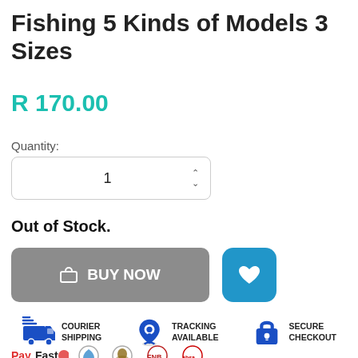Fishing 5 Kinds of Models 3 Sizes
R 170.00
Quantity:
1
Out of Stock.
BUY NOW
[Figure (infographic): Trust badges row: Courier Shipping (van icon), Tracking Available (location pin icon), Secure Checkout (padlock icon)]
[Figure (infographic): Payment method logos row: PayFast, and other payment icons partially visible]